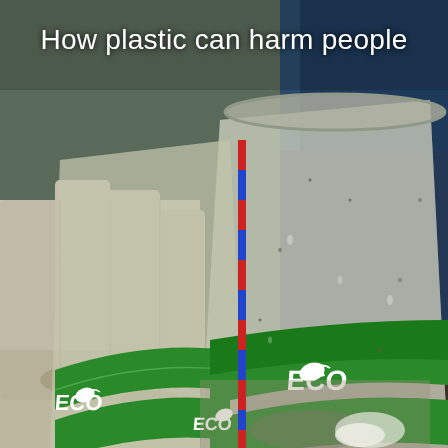[Figure (photo): Close-up photograph of dirty, sandy plastic cups with green 'ECO' branding being held by gloved hands. The cups appear to be collected trash or litter from a beach cleanup. The background shows a person wearing a blue jacket.]
How plastic can harm people